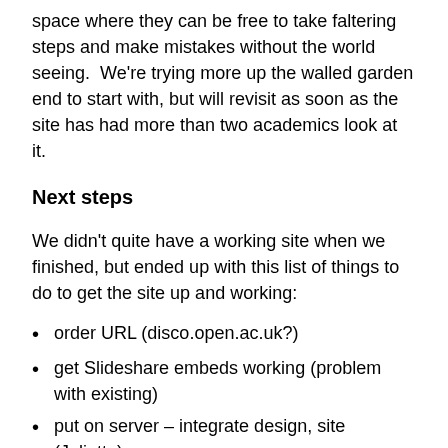space where they can be free to take faltering steps and make mistakes without the world seeing.  We're trying more up the walled garden end to start with, but will revisit as soon as the site has had more than two academics look at it.
Next steps
We didn't quite have a working site when we finished, but ended up with this list of things to do to get the site up and working:
order URL (disco.open.ac.uk?)
get Slideshare embeds working (problem with existing)
put on server – integrate design, site (Juliette),